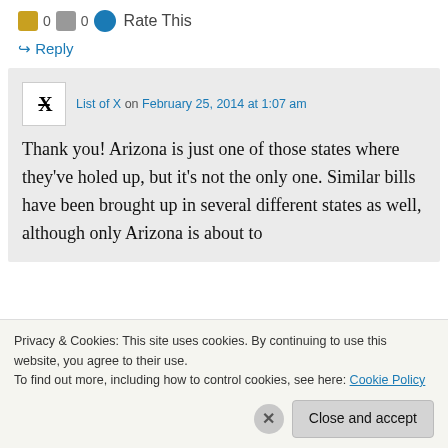0  0  Rate This
↳ Reply
List of X on February 25, 2014 at 1:07 am
Thank you! Arizona is just one of those states where they've holed up, but it's not the only one. Similar bills have been brought up in several different states as well, although only Arizona is about to
Privacy & Cookies: This site uses cookies. By continuing to use this website, you agree to their use.
To find out more, including how to control cookies, see here: Cookie Policy
Close and accept